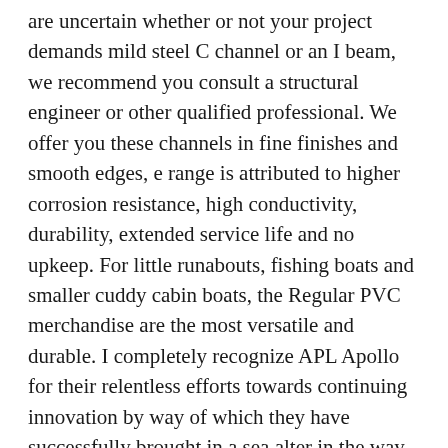are uncertain whether or not your project demands mild steel C channel or an I beam, we recommend you consult a structural engineer or other qualified professional. We offer you these channels in fine finishes and smooth edges, e range is attributed to higher corrosion resistance, high conductivity, durability, extended service life and no upkeep. For little runabouts, fishing boats and smaller cuddy cabin boats, the Regular PVC merchandise are the most versatile and durable. I completely recognize APL Apollo for their relentless efforts towards continuing innovation by way of which they have successfully brought in a sea alter in the way the individuals perceive steel pipes and tubes. Specifications for hot rolled versatile channel steel supplied by provide and demand agreement are 6.five-30#. With a proud history spanning 116 years, Macsteel Service Centres SA has created and expanded to be AFRICA'S Leading MANUFACTURER, MERCHANDISER AND DISTRIBUTOR OF STEEL AND Value ADDED STEEL Items. Higher Good quality Aluminium Foil for Pharmaceutical,